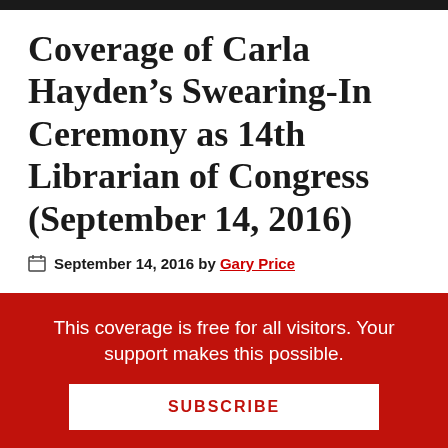Coverage of Carla Hayden’s Swearing-In Ceremony as 14th Librarian of Congress (September 14, 2016)
September 14, 2016 by Gary Price
We will post a variety of reports, video, and other
This coverage is free for all visitors. Your support makes this possible.
SUBSCRIBE